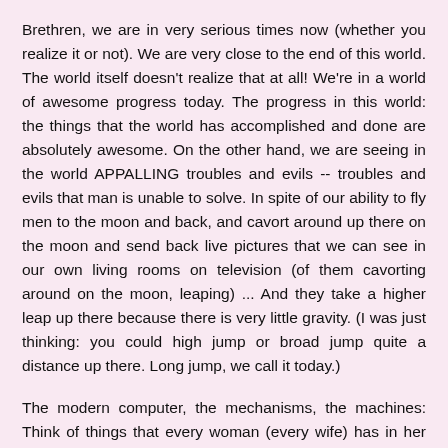Brethren, we are in very serious times now (whether you realize it or not). We are very close to the end of this world. The world itself doesn't realize that at all! We're in a world of awesome progress today. The progress in this world: the things that the world has accomplished and done are absolutely awesome. On the other hand, we are seeing in the world APPALLING troubles and evils -- troubles and evils that man is unable to solve. In spite of our ability to fly men to the moon and back, and cavort around up there on the moon and send back live pictures that we can see in our own living rooms on television (of them cavorting around on the moon, leaping) ... And they take a higher leap up there because there is very little gravity. (I was just thinking: you could high jump or broad jump quite a distance up there. Long jump, we call it today.)
The modern computer, the mechanisms, the machines: Think of things that every woman (every wife) has in her home today to help her in her kitchen, in her laundry. Yet one half of this world is in utter ignorance, without education, cannot read or write. One half of this world is living in abject poverty, filth and squalor; and actually thousands are starving to death. There are a few starving to death actually every day in some part of this world